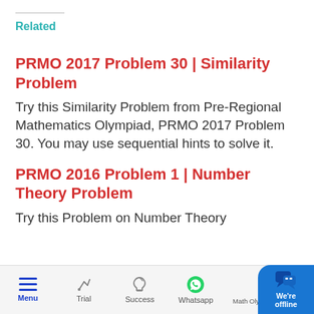Related
PRMO 2017 Problem 30 | Similarity Problem
Try this Similarity Problem from Pre-Regional Mathematics Olympiad, PRMO 2017 Problem 30. You may use sequential hints to solve it.
PRMO 2016 Problem 1 | Number Theory Problem
Try this Problem on Number Theory
Menu | Trial | Success | Whatsapp | Math Olympiad Program